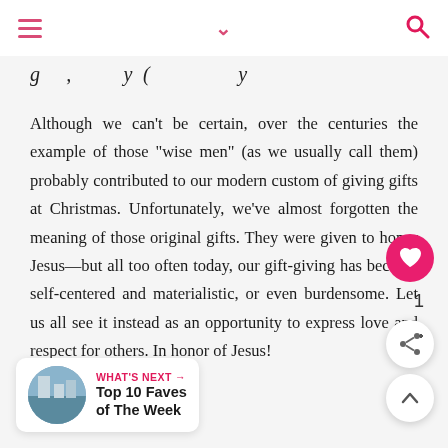navigation header with menu, chevron, and search icons
g          ,          y (                   y
Although we can't be certain, over the centuries the example of those "wise men" (as we usually call them) probably contributed to our modern custom of giving gifts at Christmas. Unfortunately, we've almost forgotten the meaning of those original gifts. They were given to honor Jesus—but all too often today, our gift-giving has become self-centered and materialistic, or even burdensome. Let us all see it instead as an opportunity to express love and respect for others. In honor of Jesus!
[Figure (other): Heart/like button (pink circle with white heart), count label '1', share button, and up/scroll button]
WHAT'S NEXT → Top 10 Faves of The Week